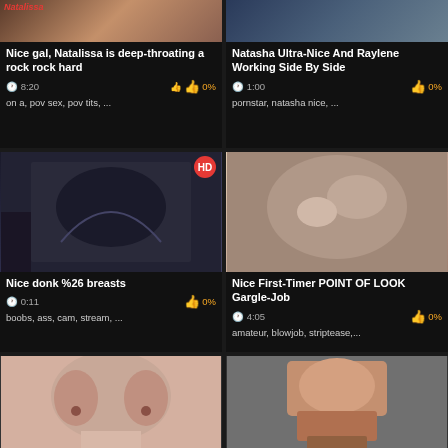[Figure (screenshot): Video thumbnail grid showing adult video website with 6 video cards in 2-column layout]
Nice gal, Natalissa is deep-throating a rock rock hard
8:20  0%
on a, pov sex, pov tits, ...
Natasha Ultra-Nice And Raylene Working Side By Side
1:00  0%
pornstar, natasha nice, ...
Nice donk %26 breasts
0:11  0%
boobs, ass, cam, stream, ...
Nice First-Timer POINT OF LOOK Gargle-Job
4:05  0%
amateur, blowjob, striptease,...